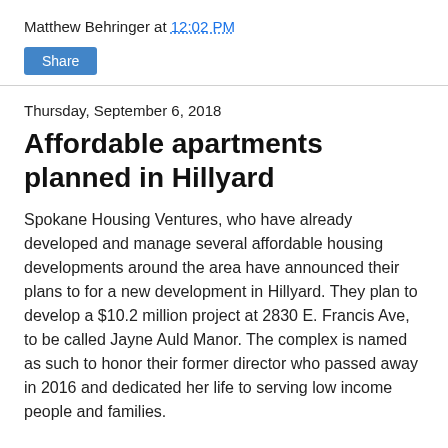Matthew Behringer at 12:02 PM
Share
Thursday, September 6, 2018
Affordable apartments planned in Hillyard
Spokane Housing Ventures, who have already developed and manage several affordable housing developments around the area have announced their plans to for a new development in Hillyard. They plan to develop a $10.2 million project at 2830 E. Francis Ave, to be called Jayne Auld Manor. The complex is named as such to honor their former director who passed away in 2016 and dedicated her life to serving low income people and families.
[Figure (photo): Exterior photo of a multi-story apartment building with teal/turquoise siding and a brown accent section near the top, photographed against a partly cloudy blue sky.]